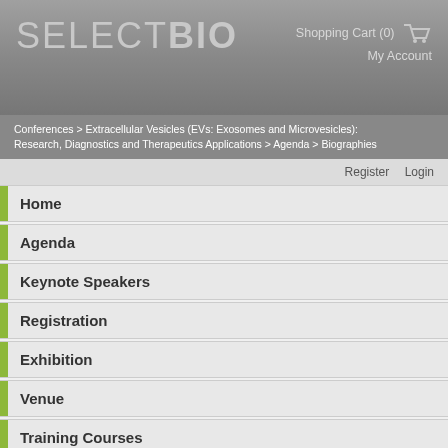SELECTBIO   Shopping Cart (0)  My Account
Conferences > Extracellular Vesicles (EVs: Exosomes and Microvesicles): Research, Diagnostics and Therapeutics Applications > Agenda > Biographies
Register   Login
Home
Agenda
Keynote Speakers
Registration
Exhibition
Venue
Training Courses
Extracellular Vesicles: Potential for Treating Skin